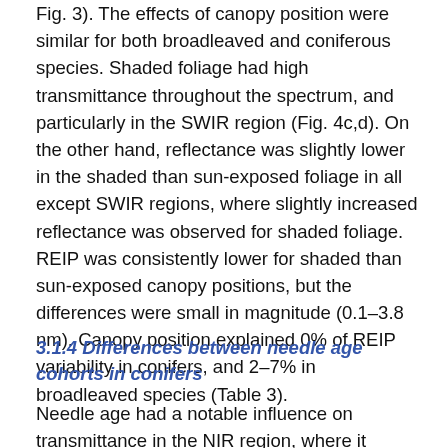Fig. 3). The effects of canopy position were similar for both broadleaved and coniferous species. Shaded foliage had high transmittance throughout the spectrum, and particularly in the SWIR region (Fig. 4c,d). On the other hand, reflectance was slightly lower in the shaded than sun-exposed foliage in all except SWIR regions, where slightly increased reflectance was observed for shaded foliage. REIP was consistently lower for shaded than sun-exposed canopy positions, but the differences were small in magnitude (0.1–3.8 nm). Canopy position explained 0% of REIP variability in conifers, and 2–7% in broadleaved species (Table 3).
3.1.4 Differences between needle age cohorts in conifers
Needle age had a notable influence on transmittance in the NIR region, where it explained up to 37% of